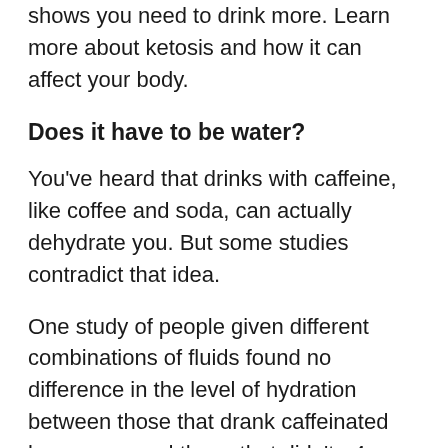shows you need to drink more. Learn more about ketosis and how it can affect your body.
Does it have to be water?
You've heard that drinks with caffeine, like coffee and soda, can actually dehydrate you. But some studies contradict that idea.
One study of people given different combinations of fluids found no difference in the level of hydration between those that drank caffeinated beverages and those that didn't.<4> Another study compared people who drank a combination of drinks that included plain water with those who drinking things other than water, and found no difference in hydration levels between the groups after a day of study.<5>
Of course, too much caffeine is going to make you jittery, and sweet or creamy drinks can be a source of excess calories and sugar. When you're thirsty